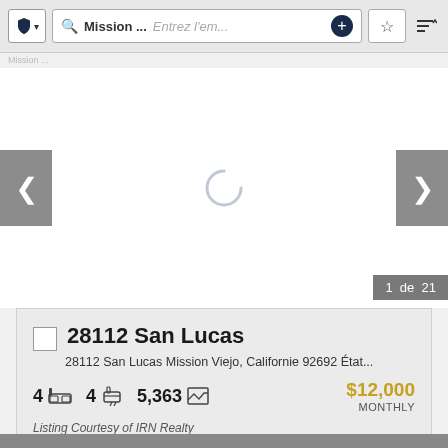[Figure (screenshot): Mobile app top navigation bar with shield/filter button, search field showing 'Mission ...' and 'Entrez l'em...' placeholder, plus button, star/favorites button, and sort button]
[Figure (screenshot): Property photo carousel area showing loading spinner, left and right navigation arrows, and page counter '1 de 21']
28112 San Lucas
28112 San Lucas Mission Viejo, Californie 92692 État...
4 [bed] 4 [bath] 5,363 [sqft] $12,000 MONTHLY
Listing Courtesy of IRN Realty